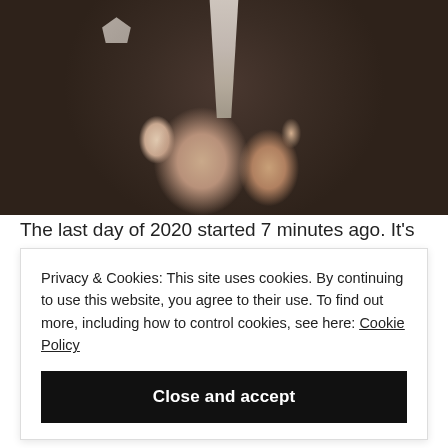[Figure (photo): A black-and-white or muted-tone photograph showing a person in a dark suit with a white tie and pocket square, hands clasped together at the midsection, seated.]
The last day of 2020 started 7 minutes ago. It's
Privacy & Cookies: This site uses cookies. By continuing to use this website, you agree to their use. To find out more, including how to control cookies, see here: Cookie Policy
Close and accept
Elaine! Not yet, because I know once I start letting